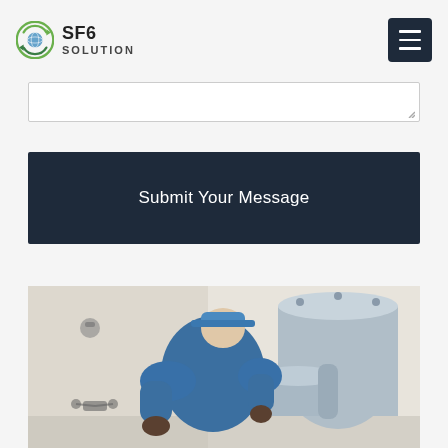SF6 SOLUTION
[Figure (screenshot): Textarea input field (partially visible, top portion cut off)]
Submit Your Message
[Figure (photo): A technician in a blue jumpsuit working on industrial SF6 gas handling equipment (large cylindrical vessels and fittings), viewed from behind in an indoor facility.]